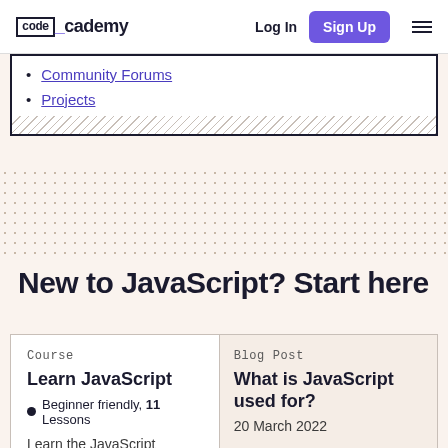codecademy — Log In | Sign Up
Community Forums
Projects
New to JavaScript? Start here
Course
Learn JavaScript
Beginner friendly, 11 Lessons
Learn the JavaScript fundamentals you'll need for
Blog Post
What is JavaScript used for?
20 March 2022